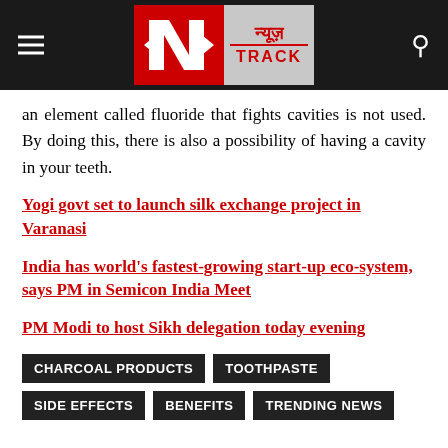[Figure (logo): News Track logo with red and white 'N' symbol on dark background with Hindi text न्यूज़ and TRACK in red]
an element called fluoride that fights cavities is not used. By doing this, there is also a possibility of having a cavity in your teeth.
Yogi govt set to launch silk exchange project in Varanasi
India has world's fastest-growing start-up eco-system, says PM in Semicon India Meet
PM Modi to host Sikh delegation today evening
CHARCOAL PRODUCTS  TOOTHPASTE  SIDE EFFECTS  BENEFITS  TRENDING NEWS